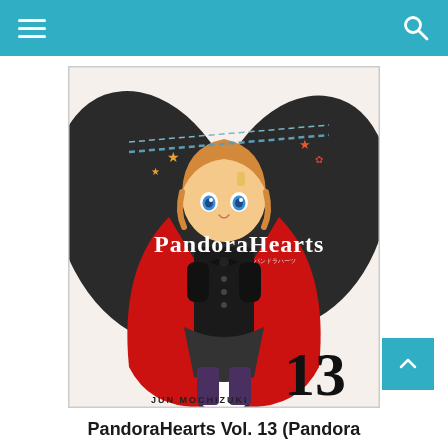Navigation header with hamburger menu and search icon
[Figure (photo): Book cover of PandoraHearts Vol. 13 by Jun Mochizuki, featuring an anime-style girl with orange hair and blue eyes wearing a red cape over a dark outfit, with bat-wing shapes in the background, stars, chains, and the number 13 at the bottom right. Title 'PandoraHearts' and author name 'JUN MOCHIZUKI' are printed on the cover.]
PandoraHearts Vol. 13 (Pandora